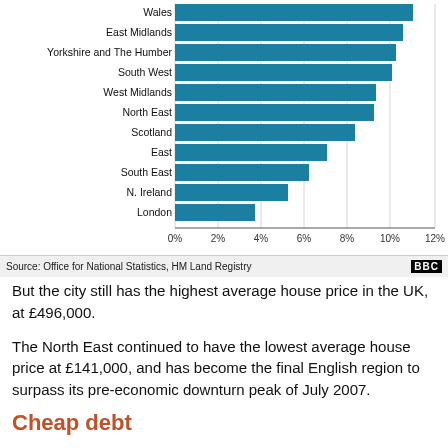[Figure (bar-chart): Annual house price growth by region]
Source: Office for National Statistics, HM Land Registry
But the city still has the highest average house price in the UK, at £496,000.
The North East continued to have the lowest average house price at £141,000, and has become the final English region to surpass its pre-economic downturn peak of July 2007.
Cheap debt